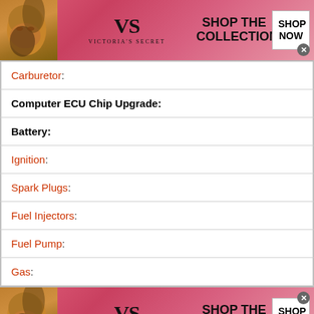[Figure (illustration): Victoria's Secret advertisement banner at top - pink gradient background with woman's face on left, VS logo in center, 'SHOP THE COLLECTION' text, and 'SHOP NOW' white button]
Carburetor:
Computer ECU Chip Upgrade:
Battery:
Ignition:
Spark Plugs:
Fuel Injectors:
Fuel Pump:
Gas:
[Figure (illustration): Victoria's Secret advertisement banner at bottom - pink gradient background with woman's face on left, VS logo in center, 'SHOP THE COLLECTION' text, and 'SHOP NOW' white button]